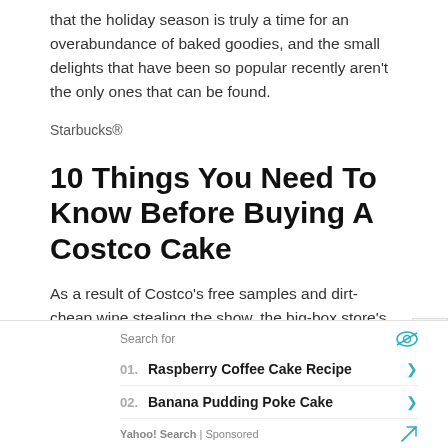that the holiday season is truly a time for an overabundance of baked goodies, and the small delights that have been so popular recently aren't the only ones that can be found.
Starbucks®
10 Things You Need To Know Before Buying A Costco Cake
As a result of Costco's free samples and dirt-cheap wine stealing the show, the big-box store's sheet
[Figure (infographic): Search ad box with Yahoo! Search branding. Contains 'Search for' header with eye icon, two sponsored search results: 01. Raspberry Coffee Cake Recipe, 02. Banana Pudding Poke Cake, with right arrows. Footer shows 'Yahoo! Search | Sponsored' with send icon.]